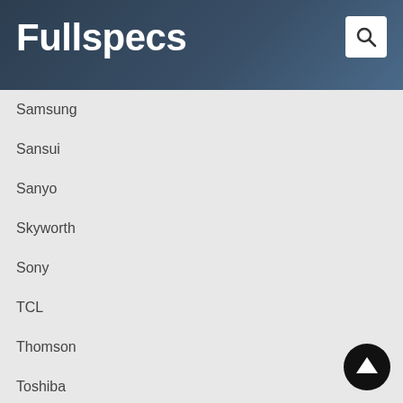Fullspecs
Samsung
Sansui
Sanyo
Skyworth
Sony
TCL
Thomson
Toshiba
Videocon
VU
Westinghouse
Wybor
TV by Category:
LED TV Specifications